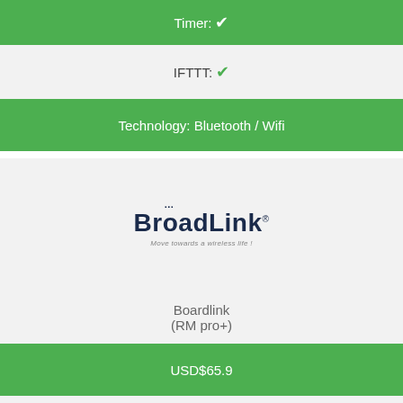Timer: ✔
IFTTT: ✔
Technology: Bluetooth / Wifi
[Figure (logo): BroadLink brand logo with tagline 'Move towards a wireless life!']
Boardlink
(RM pro+)
USD$65.9
No Hub / Router: ✗
No Setup: ✗